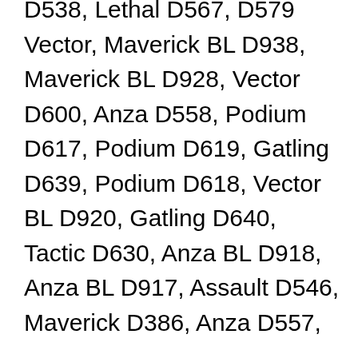D538, Lethal D567, D579 Vector, Maverick BL D938, Maverick BL D928, Vector D600, Anza D558, Podium D617, Podium D619, Gatling D639, Podium D618, Vector BL D920, Gatling D640, Tactic D630, Anza BL D918, Anza BL D917, Assault D546, Maverick D386, Anza D557,